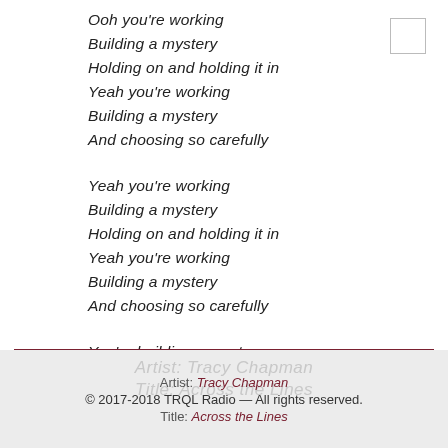Ooh you're working
Building a mystery
Holding on and holding it in
Yeah you're working
Building a mystery
And choosing so carefully
Yeah you're working
Building a mystery
Holding on and holding it in
Yeah you're working
Building a mystery
And choosing so carefully
You're building a mystery
Artist: Tracy Chapman
© 2017-2018 TRQL Radio — All rights reserved.
Title: Across the Lines